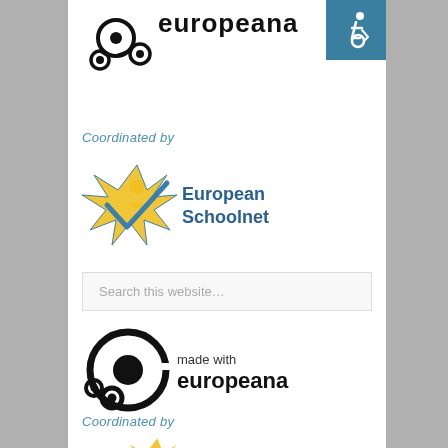[Figure (logo): Europeana logo (partial, top of page) with circular chain icon and 'europeana' text in dark]
[Figure (logo): Accessibility wheelchair icon on teal/blue square background, top right corner]
Coordinated by
[Figure (logo): European Schoolnet logo with star/arrow graphic in yellow/blue and 'European Schoolnet' text in blue]
[Figure (screenshot): Search box with placeholder text 'Search this website...']
[Figure (logo): Made with Europeana logo with circular 'e' icon and 'made with europeana' text in dark]
Coordinated by
[Figure (logo): European Schoolnet logo (partial, bottom of page) with star/arrow graphic in yellow/blue and 'European' text in blue]